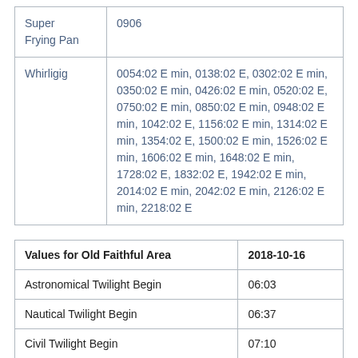|  |  |
| --- | --- |
| Super Frying Pan | 0906 |
| Whirligig | 0054:02 E min, 0138:02 E, 0302:02 E min, 0350:02 E min, 0426:02 E min, 0520:02 E, 0750:02 E min, 0850:02 E min, 0948:02 E min, 1042:02 E, 1156:02 E min, 1314:02 E min, 1354:02 E, 1500:02 E min, 1526:02 E min, 1606:02 E min, 1648:02 E min, 1728:02 E, 1832:02 E, 1942:02 E min, 2014:02 E min, 2042:02 E min, 2126:02 E min, 2218:02 E |
| Values for Old Faithful Area | 2018-10-16 |
| --- | --- |
| Astronomical Twilight Begin | 06:03 |
| Nautical Twilight Begin | 06:37 |
| Civil Twilight Begin | 07:10 |
| Sunrise | 07:40 |
| Sunset | 18:37 |